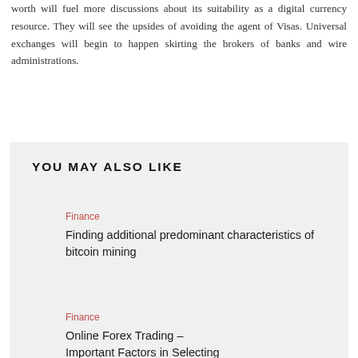worth will fuel more discussions about its suitability as a digital currency resource. They will see the upsides of avoiding the agent of Visas. Universal exchanges will begin to happen skirting the brokers of banks and wire administrations.
YOU MAY ALSO LIKE
Finance
Finding additional predominant characteristics of bitcoin mining
Finance
Online Forex Trading – Important Factors in Selecting